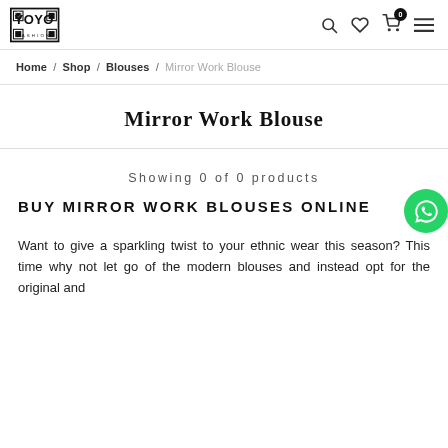YOYO FASHION — logo and navigation icons
Home / Shop / Blouses / Mirror Work Blouse
Mirror Work Blouse
Showing 0 of 0 products
BUY MIRROR WORK BLOUSES ONLINE
Want to give a sparkling twist to your ethnic wear this season? This time why not let go of the modern blouses and instead opt for the original and